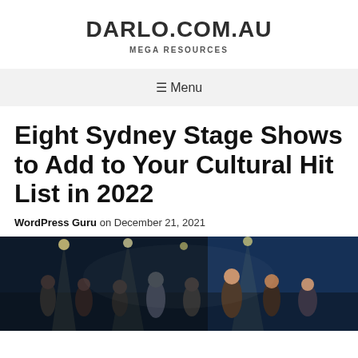DARLO.COM.AU
MEGA RESOURCES
☰ Menu
Eight Sydney Stage Shows to Add to Your Cultural Hit List in 2022
WordPress Guru on December 21, 2021
[Figure (photo): Theatrical stage performance with multiple performers on a dark stage lit by overhead lights, blue backdrop visible in background]